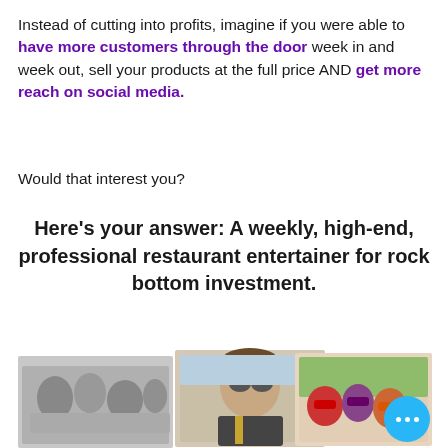Instead of cutting into profits, imagine if you were able to have more customers through the door week in and week out, sell your products at the full price AND get more reach on social media.
Would that interest you?
Here's your answer: A weekly, high-end, professional restaurant entertainer for rock bottom investment.
[Figure (photo): Three overlapping photos: black-and-white group dinner scene, man in sunglasses and suit, group of people in masquerade masks]